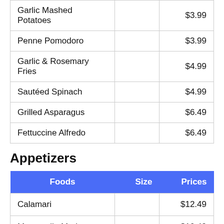| Foods | Size | Prices |
| --- | --- | --- |
| Garlic Mashed Potatoes |  | $3.99 |
| Penne Pomodoro |  | $3.99 |
| Garlic & Rosemary Fries |  | $4.99 |
| Sautéed Spinach |  | $4.99 |
| Grilled Asparagus |  | $6.49 |
| Fettuccine Alfredo |  | $6.49 |
Appetizers
| Foods | Size | Prices |
| --- | --- | --- |
| Calamari |  | $12.49 |
| Mozzarella Marinara |  | $10.49 |